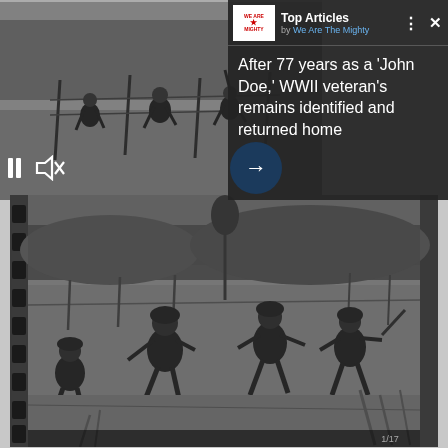[Figure (screenshot): Top portion: black-and-white archival WWII footage/photo of soldiers running through a field with trees and fence posts in background, overlaid with a dark 'Top Articles by We Are The Mighty' panel on the upper-right containing the article headline and video player controls (pause, mute, arrow). Bottom portion: larger black-and-white WWII photo of soldiers advancing through a field with similar background scenery.]
After 77 years as a 'John Doe,' WWII veteran's remains identified and returned home